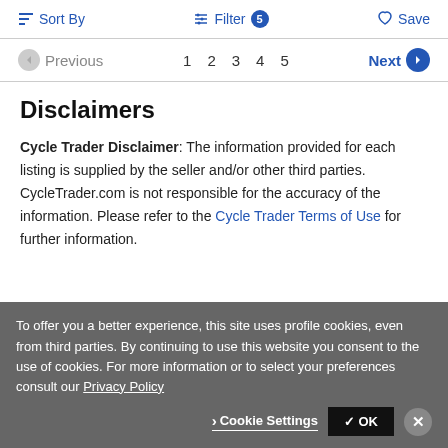Sort By  Filter 5  Save
Previous  1 2 3 4 5  Next
Disclaimers
Cycle Trader Disclaimer: The information provided for each listing is supplied by the seller and/or other third parties. CycleTrader.com is not responsible for the accuracy of the information. Please refer to the Cycle Trader Terms of Use for further information.
To offer you a better experience, this site uses profile cookies, even from third parties. By continuing to use this website you consent to the use of cookies. For more information or to select your preferences consult our Privacy Policy